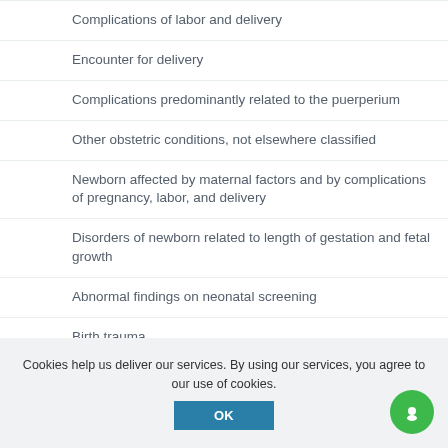Complications of labor and delivery
Encounter for delivery
Complications predominantly related to the puerperium
Other obstetric conditions, not elsewhere classified
Newborn affected by maternal factors and by complications of pregnancy, labor, and delivery
Disorders of newborn related to length of gestation and fetal growth
Abnormal findings on neonatal screening
Birth trauma
Respiratory and cardiovascular disorders specific to the perinatal period
Cookies help us deliver our services. By using our services, you agree to our use of cookies.